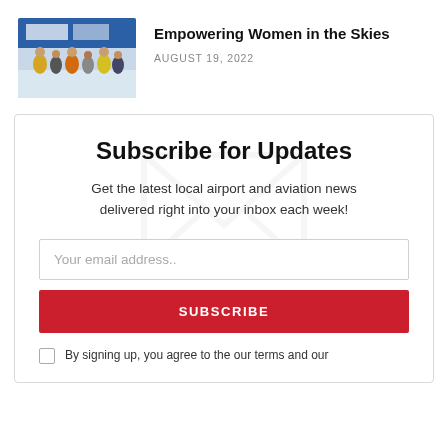[Figure (photo): Group of people including women in high-visibility vests and professional attire walking in an airport terminal]
Empowering Women in the Skies
AUGUST 19, 2022
Subscribe for Updates
Get the latest local airport and aviation news delivered right into your inbox each week!
Your email address..
SUBSCRIBE
By signing up, you agree to the our terms and our